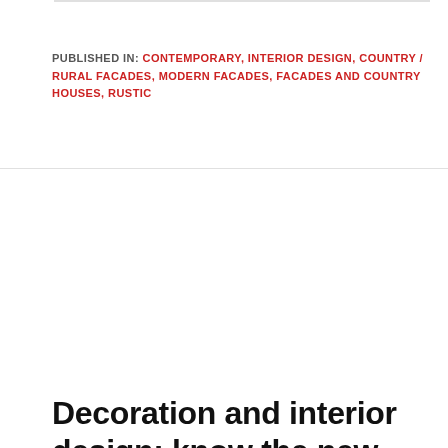PUBLISHED IN: CONTEMPORARY, INTERIOR DESIGN, COUNTRY / RURAL FACADES, MODERN FACADES, FACADES AND COUNTRY HOUSES, RUSTIC
Decoration and interior design: know the new trends for this year